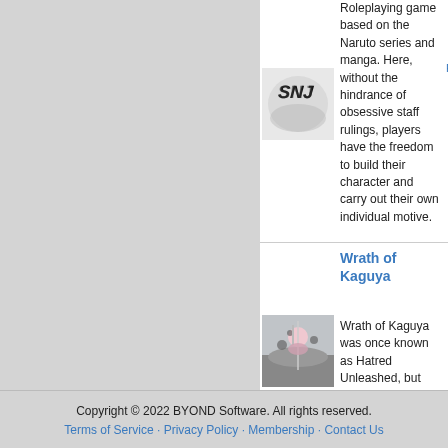[Figure (screenshot): SNJ game logo - black graffiti-style text on white/grey blurred background]
Roleplaying game based on the Naruto series and manga. Here, without the hindrance of obsessive staff rulings, players have the freedom to build their character and carry out their own individual motive.
Re: no J by R Oct 4:00
Wrath of Kaguya
[Figure (illustration): Wrath of Kaguya game image - anime character with long white hair and dark landscape]
Wrath of Kaguya was once known as Hatred Unleashed, but have finally progressed into something more.
Re: Kag by Y Aug 4:14
Copyright © 2022 BYOND Software. All rights reserved. Terms of Service · Privacy Policy · Membership · Contact Us